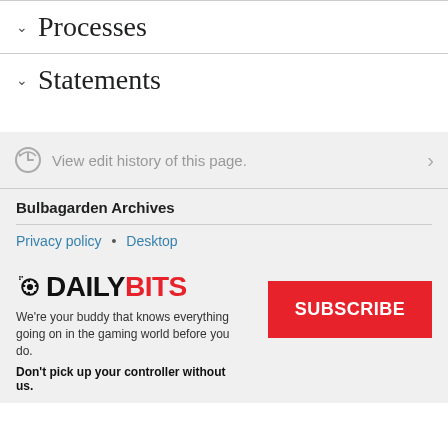∨  Processes
∨  Statements
View edit history of this page.
Bulbagarden Archives
Privacy policy • Desktop
[Figure (logo): DailyBits logo with pixelated icon, DAILY in black bold text, BITS in red bold text]
We're your buddy that knows everything going on in the gaming world before you do.
Don't pick up your controller without us.